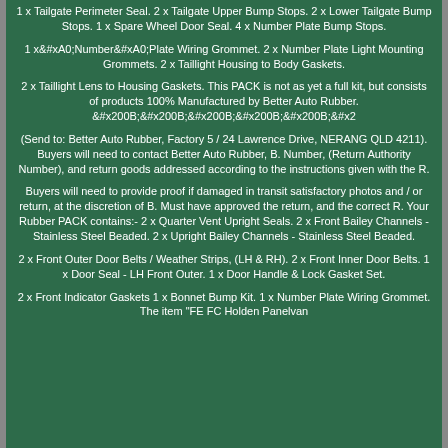1 x Tailgate Perimeter Seal. 2 x Tailgate Upper Bump Stops. 2 x Lower Tailgate Bump Stops. 1 x Spare Wheel Door Seal. 4 x Number Plate Bump Stops.
1 x Number Plate Wiring Grommet. 2 x Number Plate Light Mounting Grommets. 2 x Taillight Housing to Body Gaskets.
2 x Taillight Lens to Housing Gaskets. This PACK is not as yet a full kit, but consists of products 100% Manufactured by Better Auto Rubber. ​​​​​​
(Send to: Better Auto Rubber, Factory 5 / 24 Lawrence Drive, NERANG QLD 4211). Buyers will need to contact Better Auto Rubber, B. Number, (Return Authority Number), and return goods addressed according to the instructions given with the R.
Buyers will need to provide proof if damaged in transit satisfactory photos and / or return, at the discretion of B. Must have approved the return, and the correct R. Your Rubber PACK contains:- 2 x Quarter Vent Upright Seals. 2 x Front Bailey Channels - Stainless Steel Beaded. 2 x Upright Bailey Channels - Stainless Steel Beaded.
2 x Front Outer Door Belts / Weather Strips, (LH & RH). 2 x Front Inner Door Belts. 1 x Door Seal - LH Front Outer. 1 x Door Handle & Lock Gasket Set.
2 x Front Indicator Gaskets 1 x Bonnet Bump Kit. 1 x Number Plate Wiring Grommet. The item "FE FC Holden Panelvan